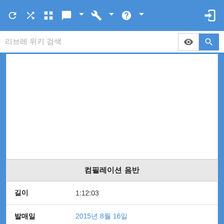리브레 위키 검색 [navigation bar with search]
[Figure (screenshot): Empty white image placeholder area]
| 컴필레이션 음반 |
| --- |
| 길이 | 1:12:03 |
| 발매일 | 2015년 8월 16일 |
| 레이블 | Diverse System |